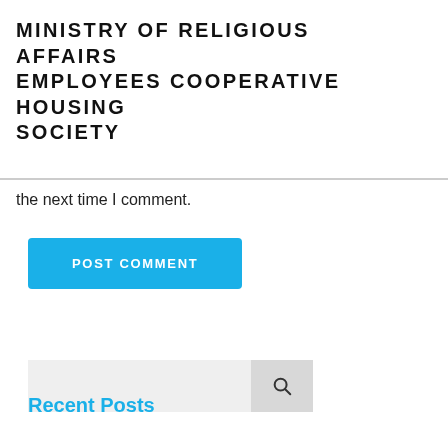MINISTRY OF RELIGIOUS AFFAIRS EMPLOYEES COOPERATIVE HOUSING SOCIETY
the next time I comment.
[Figure (other): Blue 'POST COMMENT' button]
[Figure (other): Search input field with magnifying glass icon]
Recent Posts
L’importance d’la beaute, le i?tre capable de du charisme – Le Cahier
Louisa horny xxxI have always been the new within the town